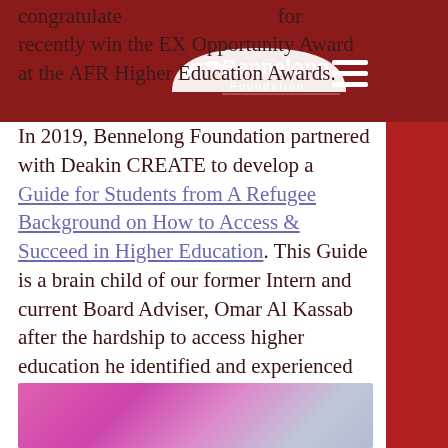Bennelong Foundation (logo)
congratulate Deakin CREATE for recently winning the EX Opportunity Award at the AFR Higher Education Awards. In 2019, Bennelong Foundation partnered with Deakin CREATE to develop a Guide for Students from A Refugee Background on How to Access & Succeed in Higher Education. This Guide is a brain child of our former Intern and current Board Adviser, Omar Al Kassab after the hardship to access higher education he identified and experienced when he first arrived in Australia as a young person from humanitarian background.
[Figure (photo): Blurred/abstract image at bottom of page showing pink/purple and grey tones]